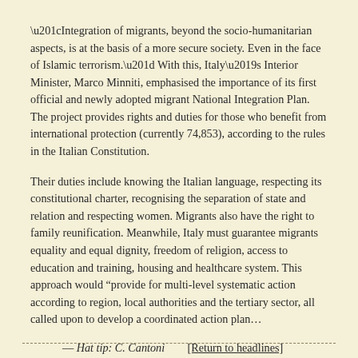“Integration of migrants, beyond the socio-humanitarian aspects, is at the basis of a more secure society. Even in the face of Islamic terrorism.” With this, Italy’s Interior Minister, Marco Minniti, emphasised the importance of its first official and newly adopted migrant National Integration Plan. The project provides rights and duties for those who benefit from international protection (currently 74,853), according to the rules in the Italian Constitution.
Their duties include knowing the Italian language, respecting its constitutional charter, recognising the separation of state and relation and respecting women. Migrants also have the right to family reunification. Meanwhile, Italy must guarantee migrants equality and equal dignity, freedom of religion, access to education and training, housing and healthcare system. This approach would “provide for multi-level systematic action according to region, local authorities and the tertiary sector, all called upon to develop a coordinated action plan…
— Hat tip: C. Cantoni        [Return to headlines]